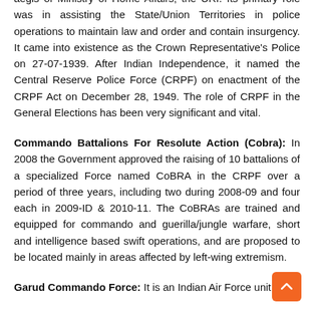aegis of Ministry of Home Affairs, the URI. Its primary role was in assisting the State/Union Territories in police operations to maintain law and order and contain insurgency. It came into existence as the Crown Representative's Police on 27-07-1939. After Indian Independence, it named the Central Reserve Police Force (CRPF) on enactment of the CRPF Act on December 28, 1949. The role of CRPF in the General Elections has been very significant and vital.
Commando Battalions For Resolute Action (Cobra):
In 2008 the Government approved the raising of 10 battalions of a specialized Force named CoBRA in the CRPF over a period of three years, including two during 2008-09 and four each in 2009-ID & 2010-11. The CoBRAs are trained and equipped for commando and guerilla/jungle warfare, short and intelligence based swift operations, and are proposed to be located mainly in areas affected by left-wing extremism.
Garud Commando Force:
It is an Indian Air Force unit